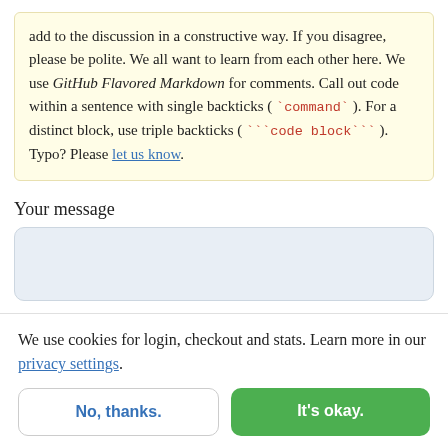add to the discussion in a constructive way. If you disagree, please be polite. We all want to learn from each other here. We use GitHub Flavored Markdown for comments. Call out code within a sentence with single backticks ( `command` ). For a distinct block, use triple backticks ( ```code block``` ). Typo? Please let us know.
Your message
[Figure (screenshot): Empty text area input field with light blue-grey background and rounded corners]
We use cookies for login, checkout and stats. Learn more in our privacy settings.
No, thanks.
It's okay.